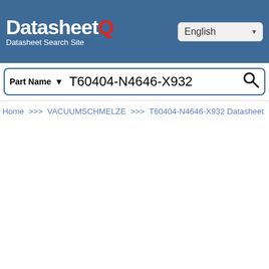DatasheetQ — Datasheet Search Site
Part Name  ▼  T60404-N4646-X932  🔍
Home >>> VACUUMSCHMELZE >>> T60404-N4646-X932 Datasheet